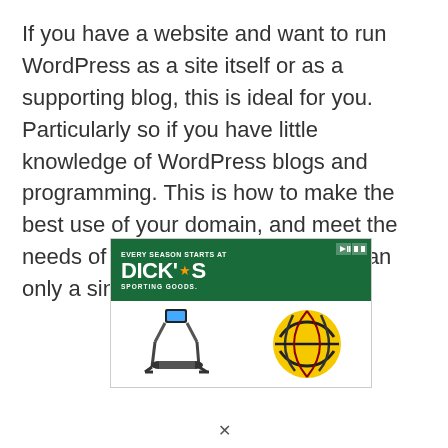If you have a website and want to run WordPress as a site itself or as a supporting blog, this is ideal for you. Particularly so if you have little knowledge of WordPress blogs and programming. This is how to make the best use of your domain, and meet the needs of Google better than if you ran only a single website with no blog.
[Figure (other): Advertisement for Dick's Sporting Goods showing logo with 'Every Season Starts At' tagline and images of a treadmill and a volleyball/soccer ball.]